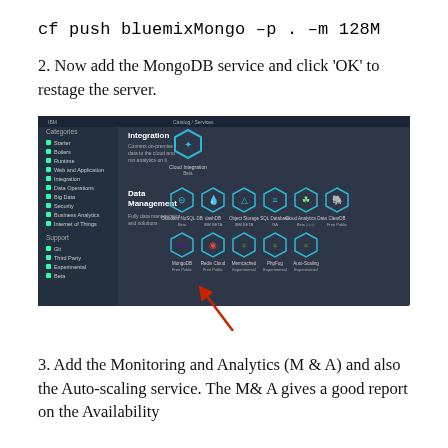cf push bluemixMongo –p . –m 128M
2. Now add the MongoDB service and click 'OK' to restage the server.
[Figure (screenshot): Screenshot of IBM Bluemix catalog showing service categories on the left sidebar and hexagonal service icons including Data Management services (Cloudant NoSQL DB, dashDB, Object Storage, SQL Database, Cloud Analytics Data, ClearDB) and NoSQL/data services (MongoDB, Redis Cloud, Memcached, PhpFog, Auto-Scaling) with a red arrow pointing to MongoDB.]
3. Add the Monitoring and Analytics (M & A) and also the Auto-scaling service. The M& A gives a good report on the Availability